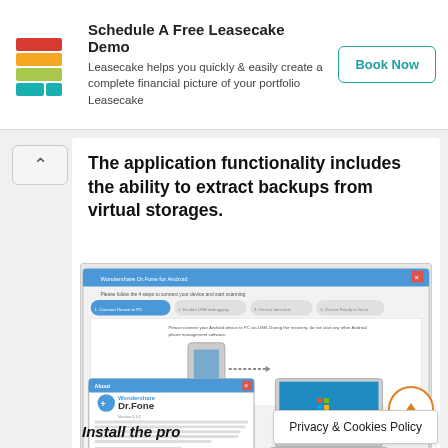[Figure (logo): Leasecake logo - colorful stacked layers icon]
Schedule A Free Leasecake Demo
Leasecake helps you quickly & easily create a complete financial picture of your portfolio Leasecake
Book Now
The application functionality includes the ability to extract backups from virtual storages.
[Figure (screenshot): Screenshot of Wondershare Dr.Fone application showing the Android device connection wizard with 4 steps, and an About dialog showing Dr.Fone version info. A Windows 7 laptop graphic is shown on the right side.]
Install the pro
Privacy & Cookies Policy